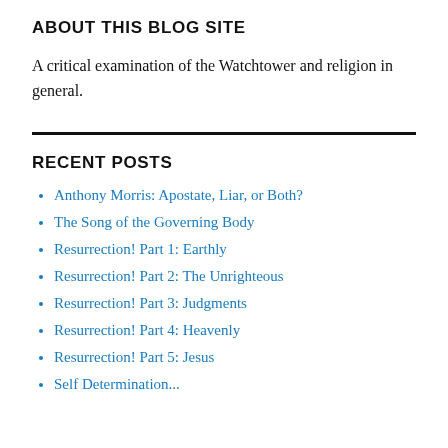ABOUT THIS BLOG SITE
A critical examination of the Watchtower and religion in general.
RECENT POSTS
Anthony Morris: Apostate, Liar, or Both?
The Song of the Governing Body
Resurrection! Part 1: Earthly
Resurrection! Part 2: The Unrighteous
Resurrection! Part 3: Judgments
Resurrection! Part 4: Heavenly
Resurrection! Part 5: Jesus
Self Determination...